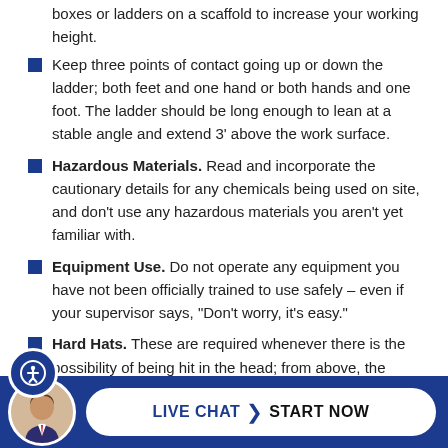boxes or ladders on a scaffold to increase your working height.
Keep three points of contact going up or down the ladder; both feet and one hand or both hands and one foot. The ladder should be long enough to lean at a stable angle and extend 3' above the work surface.
Hazardous Materials. Read and incorporate the cautionary details for any chemicals being used on site, and don't use any hazardous materials you aren't yet familiar with.
Equipment Use. Do not operate any equipment you have not been officially trained to use safely – even if your supervisor says, “Don't worry, it's easy.”
Hard Hats. These are required whenever there is the possibility of being hit in the head; from above, the side, or the back.
itional injuries can come from electrical hazards, swinging equipment movement, etc. When in doubt, wear the hard